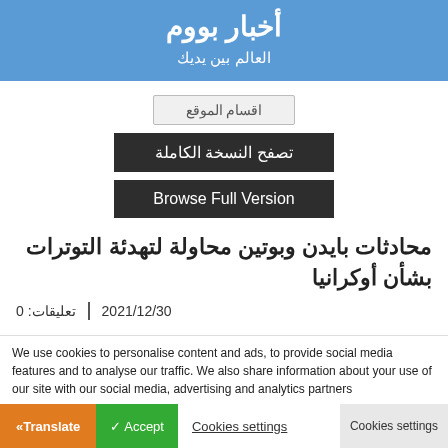أخبار بووم
العالم بين يديك
اقسام الموقع
تصفح النسخة الكاملة
Browse Full Version
محادثات بايدن وبوتين محاولة لتهدئة التوترات بشأن أوكرانيا
2021/12/30 | تعليقات: 0
We use cookies to personalise content and ads, to provide social media features and to analyse our traffic. We also share information about your use of our site with our social media, advertising and analytics partners
« Translate  ✓ Accept  Cookies settings  Cookies settings